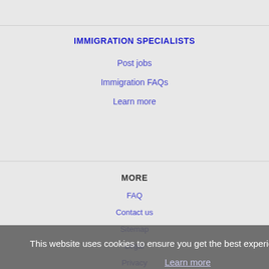IMMIGRATION SPECIALISTS
Post jobs
Immigration FAQs
Learn more
MORE
FAQ
Contact us
Sitemap
Legal
Privacy
This website uses cookies to ensure you get the best experience on our website.
Learn more
Got it!
NEARBY CITIES
Arden-Arcade, CA Jobs